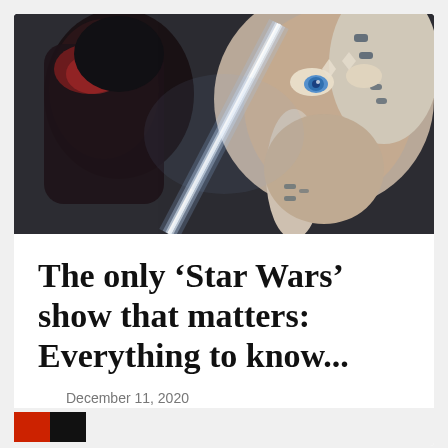[Figure (photo): Two figures facing each other in dark cinematic lighting; one with white lekku head-tails with dark stripes (Ahsoka Tano character) on the right with blue eyes, and another figure with reddish armor seen from behind on the left; a bright white lightsaber blade is visible between them]
The only ‘Star Wars’ show that matters: Everything to know...
December 11, 2020